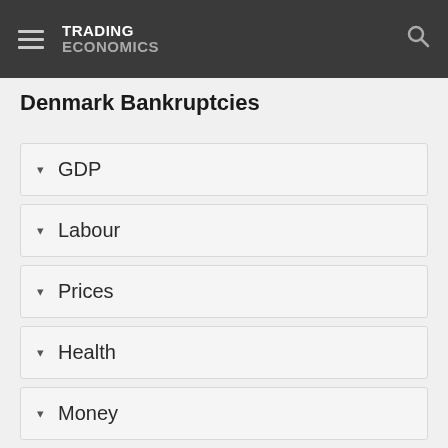TRADING ECONOMICS
Denmark Bankruptcies
GDP
Labour
Prices
Health
Money
Trade
Government
Business